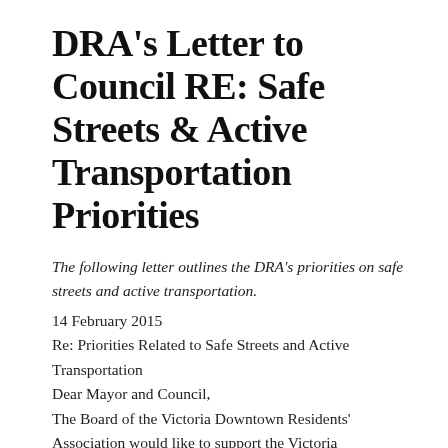DRA's Letter to Council RE: Safe Streets & Active Transportation Priorities
The following letter outlines the DRA's priorities on safe streets and active transportation.
14 February 2015
Re: Priorities Related to Safe Streets and Active Transportation
Dear Mayor and Council,
The Board of the Victoria Downtown Residents' Association would like to support the Victoria Community Association Network's request that